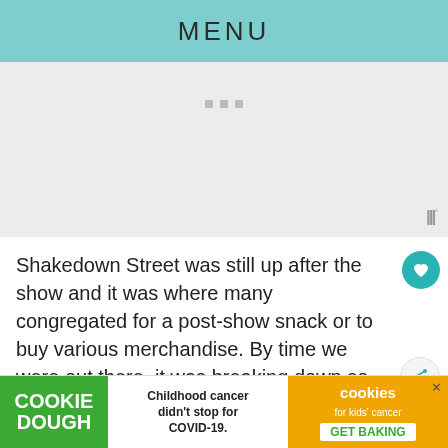MENU
[Figure (other): Advertisement placeholder area with three small grey dots and a WW logo in the bottom right corner]
Shakedown Street was still up after the show and it was where many congregated for a post-show snack or to buy various merchandise. By time we were out there, it was breaking down so there wasn't much to se...
[Figure (other): Cookie Dough advertisement banner: 'Childhood cancer didn't stop for COVID-19. GET BAKING' with cookies for kids cancer logo and close button]